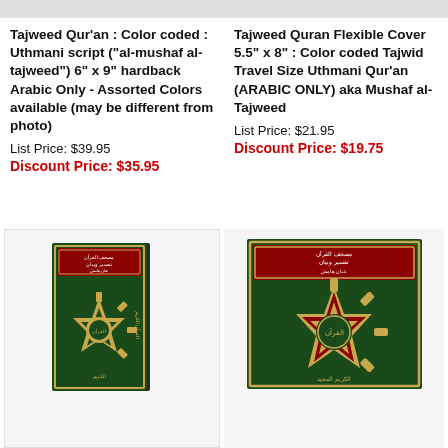[Figure (photo): Top portion of a Quran book cover (Tajweed Quran, hardback, assorted colors), cropped at top]
[Figure (photo): Top portion of a Quran book cover (Tajweed Quran Flexible Cover), cropped at top]
Tajweed Qur'an : Color coded : Uthmani script ("al-mushaf al-tajweed") 6" x 9" hardback Arabic Only - Assorted Colors available (may be different from photo)
Tajweed Quran Flexible Cover 5.5" x 8" : Color coded Tajwid Travel Size Uthmani Qur'an (ARABIC ONLY) aka Mushaf al-Tajweed
List Price: $39.95
List Price: $21.95
Discount Price: $35.95
Discount Price: $19.75
[Figure (photo): Green and gold hardcover Quran book (Tajweed Quran) shown at slight angle with Arabic text and ornate geometric star pattern on cover]
[Figure (photo): Green and red/gold cover of Quran book (Tajweed Quran) shown straight on with Arabic text and ornate geometric star pattern on cover]